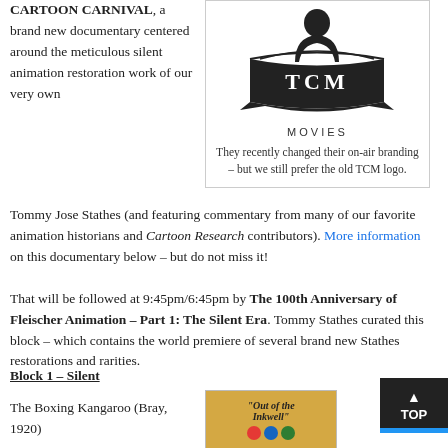CARTOON CARNIVAL, a brand new documentary centered around the meticulous silent animation restoration work of our very own Tommy Jose Stathes (and featuring commentary from many of our favorite animation historians and Cartoon Research contributors). More information on this documentary below – but do not miss it!
[Figure (logo): TCM Movies logo — silhouette of a man in a suit with the TCM banner/crest logo below, text 'MOVIES' underneath]
They recently changed their on-air branding – but we still prefer the old TCM logo.
That will be followed at 9:45pm/6:45pm by The 100th Anniversary of Fleischer Animation – Part 1: The Silent Era. Tommy Stathes curated this block – which contains the world premiere of several brand new Stathes restorations and rarities.
Block 1 – Silent
The Boxing Kangaroo (Bray, 1920)
[Figure (photo): Partial image of 'Out of the Inkwell' promotional graphic with colorful cartoon imagery, golden/yellow background]